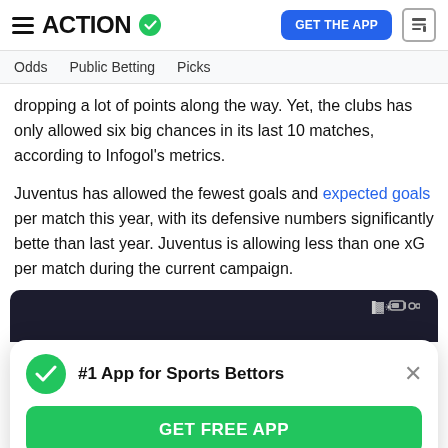ACTION
Odds  Public Betting  Picks
dropping a lot of points along the way. Yet, the clubs has only allowed six big chances in its last 10 matches, according to Infogol's metrics.
Juventus has allowed the fewest goals and expected goals per match this year, with its defensive numbers significantly bette than last year. Juventus is allowing less than one xG per match during the current campaign.
[Figure (screenshot): Action Network app screenshot showing a phone with a popup banner: '#1 App for Sports Bettors' with a green GET FREE APP button and a bottom strip showing 'ACTION' logo]
#1 App for Sports Bettors
GET FREE APP